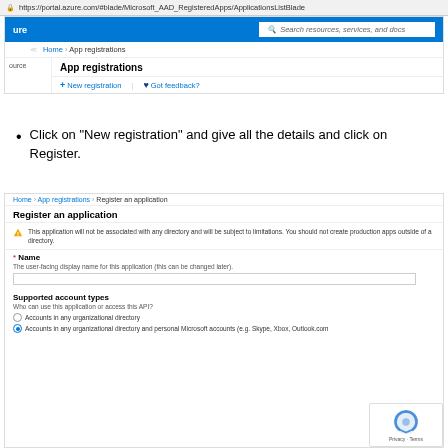[Figure (screenshot): Azure portal browser screenshot showing App registrations page with URL bar, navigation header, New registration button, and Got feedback button]
Click on “New registration” and give all the details and click on Register.
[Figure (screenshot): Azure portal screenshot showing Register an application form with warning about no directory, Name field, Supported account types section with radio buttons]